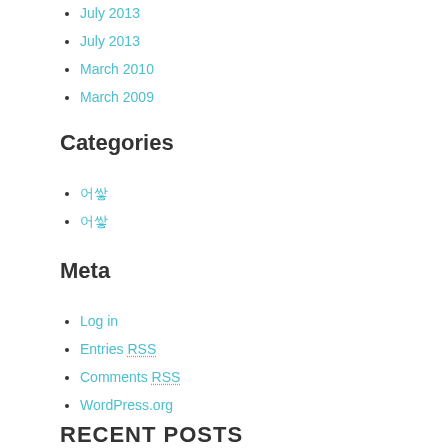July 2013
March 2010
March 2009
Categories
어쌓
어쌓
Meta
Log in
Entries RSS
Comments RSS
WordPress.org
RECENT POSTS